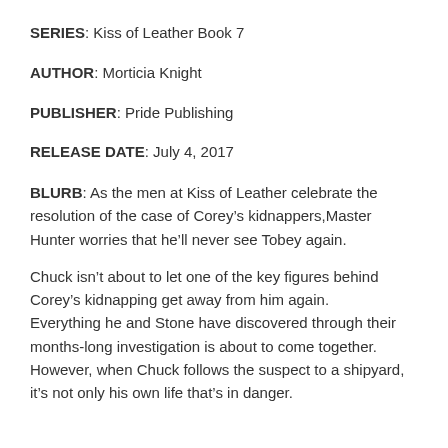SERIES: Kiss of Leather Book 7
AUTHOR: Morticia Knight
PUBLISHER: Pride Publishing
RELEASE DATE: July 4, 2017
BLURB: As the men at Kiss of Leather celebrate the resolution of the case of Corey’s kidnappers,​Master Hunter worries that he’ll never see Tobey again.
Chuck isn’t about to let one of the key figures behind Corey’s kidnapping get away from him again. Everything he and Stone have discovered through their months-long investigation is about to come together. However, when Chuck follows the suspect to a shipyard, it’s not only his own life that’s in danger.